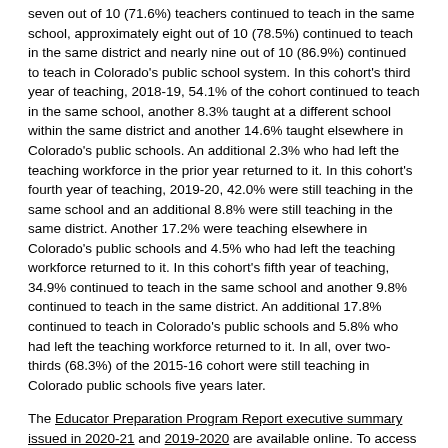seven out of 10 (71.6%) teachers continued to teach in the same school, approximately eight out of 10 (78.5%) continued to teach in the same district and nearly nine out of 10 (86.9%) continued to teach in Colorado's public school system. In this cohort's third year of teaching, 2018-19, 54.1% of the cohort continued to teach in the same school, another 8.3% taught at a different school within the same district and another 14.6% taught elsewhere in Colorado's public schools. An additional 2.3% who had left the teaching workforce in the prior year returned to it. In this cohort's fourth year of teaching, 2019-20, 42.0% were still teaching in the same school and an additional 8.8% were still teaching in the same district. Another 17.2% were teaching elsewhere in Colorado's public schools and 4.5% who had left the teaching workforce returned to it. In this cohort's fifth year of teaching, 34.9% continued to teach in the same school and another 9.8% continued to teach in the same district. An additional 17.8% continued to teach in Colorado's public schools and 5.8% who had left the teaching workforce returned to it. In all, over two-thirds (68.3%) of the 2015-16 cohort were still teaching in Colorado public schools five years later.
The Educator Preparation Program Report executive summary issued in 2020-21 and 2019-2020 are available online. To access EPP reports issued prior to 2019-2020, please visit the CDHE's Reports & Publications website and filter by Educator Preparation category.